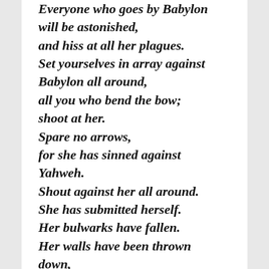Everyone who goes by Babylon will be astonished, and hiss at all her plagues. Set yourselves in array against Babylon all around, all you who bend the bow; shoot at her. Spare no arrows, for she has sinned against Yahweh. Shout against her all around. She has submitted herself. Her bulwarks have fallen. Her walls have been thrown down, for it is the vengeance of Yahweh.